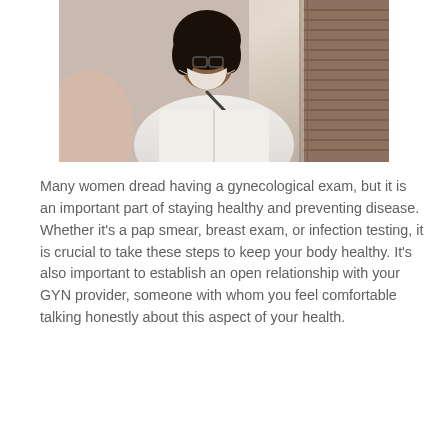[Figure (photo): A doctor wearing a white coat and face mask uses a stethoscope to examine a patient. The doctor has curly hair and glasses. The setting appears to be a medical office.]
Many women dread having a gynecological exam, but it is an important part of staying healthy and preventing disease. Whether it's a pap smear, breast exam, or infection testing, it is crucial to take these steps to keep your body healthy. It's also important to establish an open relationship with your GYN provider, someone with whom you feel comfortable talking honestly about this aspect of your health.